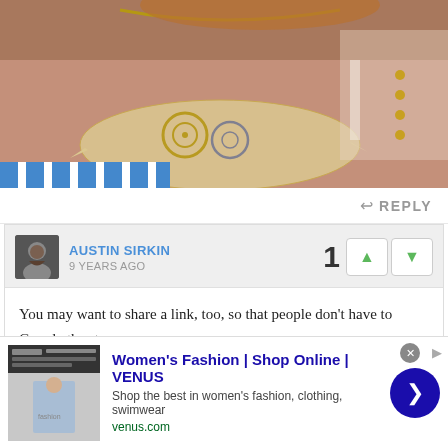[Figure (photo): Close-up photo of a person's neck/chest area wearing a steampunk-style necklace made with gears on a shell or bone piece, with lace and gold studded accessories visible]
REPLY
AUSTIN SIRKIN
9 YEARS AGO
You may want to share a link, too, so that people don't have to Google the store.

Looks like a great contribution!
Women's Fashion | Shop Online | VENUS
Shop the best in women's fashion, clothing, swimwear
venus.com